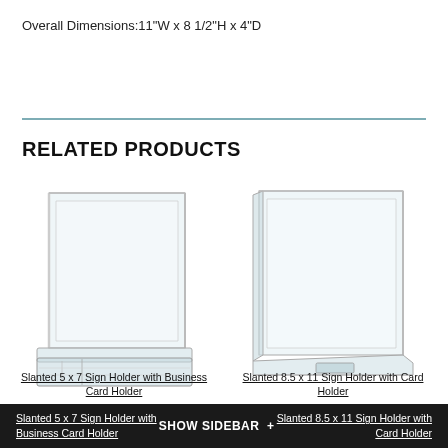Overall Dimensions:11"W x 8 1/2"H x 4"D
RELATED PRODUCTS
[Figure (photo): Slanted 5 x 7 Sign Holder with Business Card Holder - clear acrylic display stand with attached business card pocket at base]
Slanted 5 x 7 Sign Holder with Business Card Holder
[Figure (photo): Slanted 8.5 x 11 Sign Holder with Card Holder - clear acrylic display stand with small slot at base]
Slanted 8.5 x 11 Sign Holder with Card Holder
SHOW SIDEBAR +